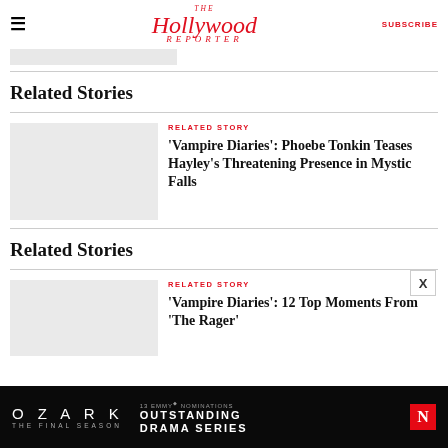The Hollywood Reporter | SUBSCRIBE
[Figure (other): Cropped image placeholder at top]
Related Stories
RELATED STORY
'Vampire Diaries': Phoebe Tonkin Teases Hayley's Threatening Presence in Mystic Falls
Related Stories
RELATED STORY
'Vampire Diaries': 12 Top Moments From 'The Rager'
[Figure (other): Ozark advertisement banner: OZARK THE FINAL SEASON, 13 EMMY NOMINATIONS OUTSTANDING DRAMA SERIES, Netflix logo]